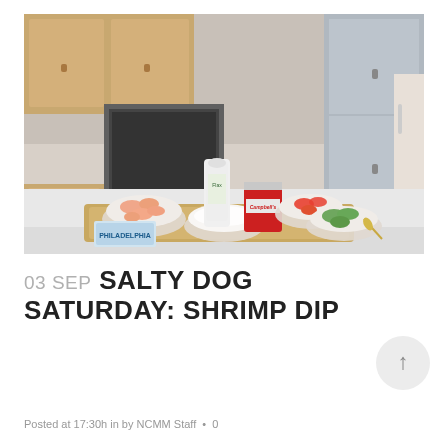[Figure (photo): Kitchen counter with ingredients for shrimp dip: bowls of shrimp, cream cheese (Philadelphia), white filling, diced tomatoes, green vegetables, a can of Campbell's soup, and a tall container of Flax seasoning on a wooden cutting board. Kitchen cabinets and stainless steel appliances in the background.]
03 SEP SALTY DOG SATURDAY: SHRIMP DIP
Posted at 17:30h in by NCMM Staff  •  0